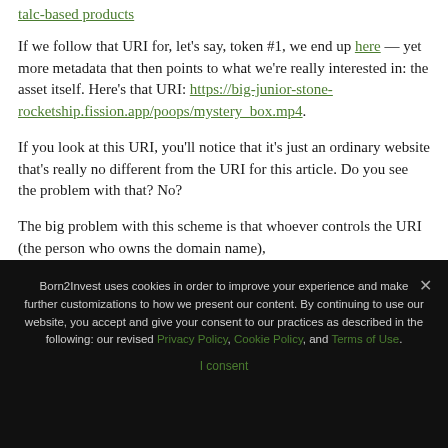talc-based products
If we follow that URI for, let's say, token #1, we end up here — yet more metadata that then points to what we're really interested in: the asset itself. Here's that URI: https://big-junior-stone-rocketship.fission.app/poops/mystery_box.mp4.
If you look at this URI, you'll notice that it's just an ordinary website that's really no different from the URI for this article. Do you see the problem with that? No?
The big problem with this scheme is that whoever controls the URI (the person who owns the domain name),
Born2Invest uses cookies in order to improve your experience and make further customizations to how we present our content. By continuing to use our website, you accept and give your consent to our practices as described in the following: our revised Privacy Policy, Cookie Policy, and Terms of Use.
I consent